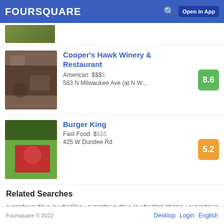FOURSQUARE  Open in App
[Figure (photo): Partial restaurant listing image at top of page]
Cooper's Hawk Winery & Restaurant — American $$$ — 583 N Milwaukee Ave (at N W... — Score: 8.6
Burger King — Fast Food $ — 425 W Dundee Rd — Score: 5.2
Related Searches
superdawg drive-in wheeling • superdawg drive-in wheeling photos • superdawg drive-in wheeling location • superdawg drive-in wheeling address • superdawg drive-in wheeling • super dawg's on milwaukee ave chicago wheeling • super dawgs on milwaukee ave chicago wheeling • superdawg wheeling • superdawg - wheeling wheeling • superdawg drive-in wheeling • superdawg drivein wheeling • superdawg wheeling wheeling •
Foursquare © 2022   Desktop   Login   English